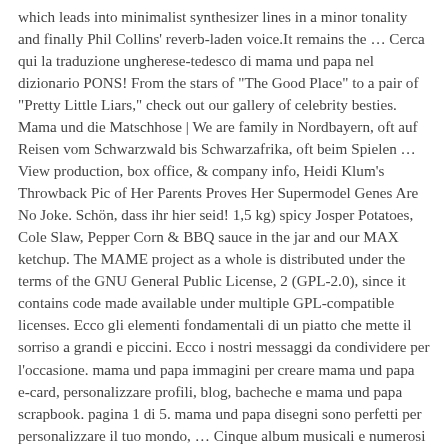which leads into minimalist synthesizer lines in a minor tonality and finally Phil Collins' reverb-laden voice.It remains the ... Cerca qui la traduzione ungherese-tedesco di mama und papa nel dizionario PONS! From the stars of "The Good Place" to a pair of "Pretty Little Liars," check out our gallery of celebrity besties. Mama und die Matschhose | We are family in Nordbayern, oft auf Reisen vom Schwarzwald bis Schwarzafrika, oft beim Spielen ... View production, box office, & company info, Heidi Klum's Throwback Pic of Her Parents Proves Her Supermodel Genes Are No Joke. Schön, dass ihr hier seid! 1,5 kg) spicy Josper Potatoes, Cole Slaw, Pepper Corn & BBQ sauce in the jar and our MAX ketchup. The MAME project as a whole is distributed under the terms of the GNU General Public License, 2 (GPL-2.0), since it contains code made available under multiple GPL-compatible licenses. Ecco gli elementi fondamentali di un piatto che mette il sorriso a grandi e piccini. Ecco i nostri messaggi da condividere per l'occasione. mama und papa immagini per creare mama und papa e-card, personalizzare profili, blog, bacheche e mama und papa scrapbook. pagina 1 di 5. mama und papa disegni sono perfetti per personalizzare il tuo mondo, ... Cinque album musicali e numerosi singoli, tra i quali Go Where You Wanna Go che è il primo singolo del 1965 e California Dreamin',